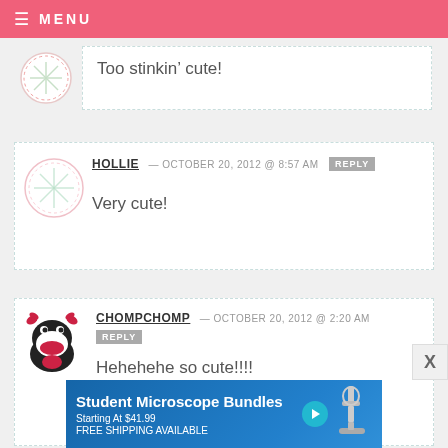MENU
Too stinkin’ cute!
HOLLIE — OCTOBER 20, 2012 @ 8:57 AM
Very cute!
CHOMPCHOMP — OCTOBER 20, 2012 @ 2:20 AM
Hehehehe so cute!!!!
[Figure (other): Advertisement banner for Student Microscope Bundles, Starting At $41.99, FREE SHIPPING AVAILABLE, with microscope image]